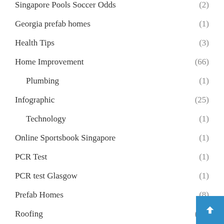Singapore Pools Soccer Odds (2)
Georgia prefab homes (1)
Health Tips (3)
Home Improvement (66)
Plumbing (1)
Infographic (25)
Technology (1)
Online Sportsbook Singapore (1)
PCR Test (1)
PCR test Glasgow (1)
Prefab Homes (8)
Roofing (15)
Roofing Contractor